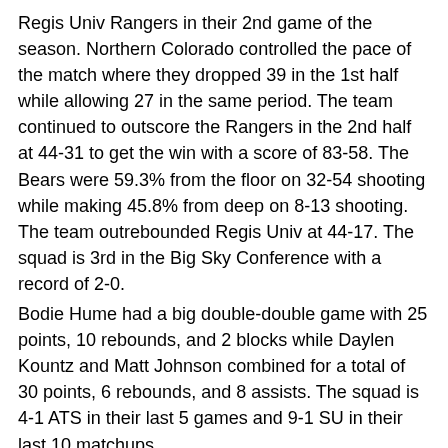Regis Univ Rangers in their 2nd game of the season. Northern Colorado controlled the pace of the match where they dropped 39 in the 1st half while allowing 27 in the same period. The team continued to outscore the Rangers in the 2nd half at 44-31 to get the win with a score of 83-58. The Bears were 59.3% from the floor on 32-54 shooting while making 45.8% from deep on 8-13 shooting. The team outrebounded Regis Univ at 44-17. The squad is 3rd in the Big Sky Conference with a record of 2-0.
Bodie Hume had a big double-double game with 25 points, 10 rebounds, and 2 blocks while Daylen Kountz and Matt Johnson combined for a total of 30 points, 6 rebounds, and 8 assists. The squad is 4-1 ATS in their last 5 games and 9-1 SU in their last 10 matchups.
Northern Colorado Bears vs Colorado Buffaloes Predictions 12/14/2020
The Buffaloes got their 1st loss of the season after dropping a low-scoring game against the Tennessee Volunteers. Colorado trailed by 7 in the 1st half of the game with a score of 31-24. The team added 33...